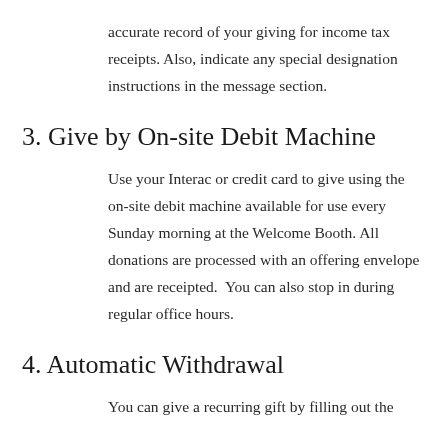accurate record of your giving for income tax receipts. Also, indicate any special designation instructions in the message section.
3. Give by On-site Debit Machine
Use your Interac or credit card to give using the on-site debit machine available for use every Sunday morning at the Welcome Booth. All donations are processed with an offering envelope and are receipted.  You can also stop in during regular office hours.
4. Automatic Withdrawal
You can give a recurring gift by filling out the